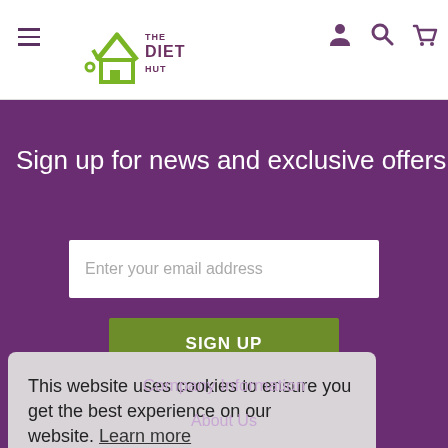[Figure (logo): The Diet Hut logo with green house icon and text THE DIET HUT]
Sign up for news and exclusive offers
Enter your email address
SIGN UP
This website uses cookies to ensure you get the best experience on our website. Learn more
Got it!
Company Information
About Us